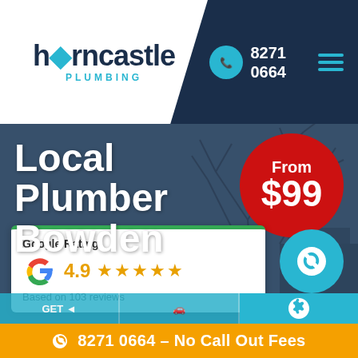[Figure (screenshot): Horncastle Plumbing website header with logo, phone number 8271 0664, and hamburger menu on dark navy background]
Local Plumber Bowden
[Figure (other): Red circular badge with text 'From $99']
[Figure (other): Google Rating card showing 4.9 stars based on 103 reviews]
8271 0664 – No Call Out Fees